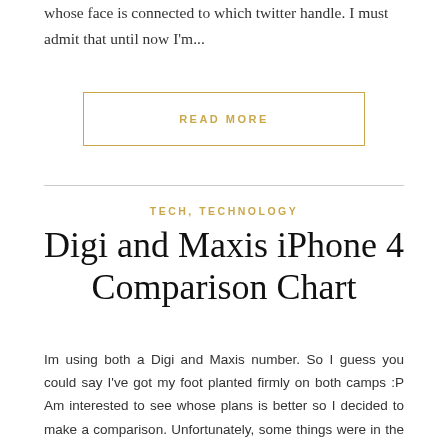whose face is connected to which twitter handle. I must admit that until now I'm...
READ MORE
TECH, TECHNOLOGY
Digi and Maxis iPhone 4 Comparison Chart
Im using both a Digi and Maxis number. So I guess you could say I've got my foot planted firmly on both camps :P Am interested to see whose plans is better so I decided to make a comparison. Unfortunately, some things were in the way Digi does NOT have a 12 month contract plan